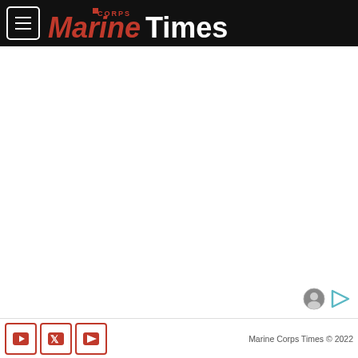Marine Corps Times
[Figure (screenshot): Large white blank advertisement/content area with small user avatar and play button icons in the bottom-right corner]
Marine Corps Times © 2022